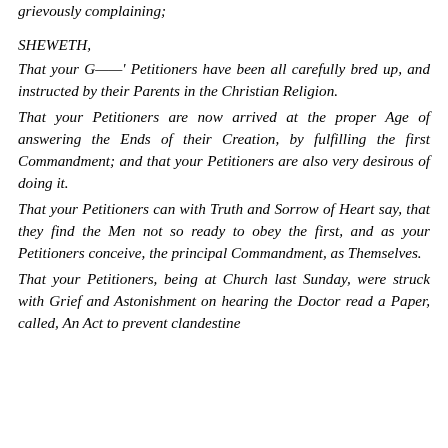grievously complaining;
SHEWETH,
That your G——' Petitioners have been all carefully bred up, and instructed by their Parents in the Christian Religion.
That your Petitioners are now arrived at the proper Age of answering the Ends of their Creation, by fulfilling the first Commandment; and that your Petitioners are also very desirous of doing it.
That your Petitioners can with Truth and Sorrow of Heart say, that they find the Men not so ready to obey the first, and as your Petitioners conceive, the principal Commandment, as Themselves.
That your Petitioners, being at Church last Sunday, were struck with Grief and Astonishment on hearing the Doctor read a Paper, called, An Act to prevent clandestine